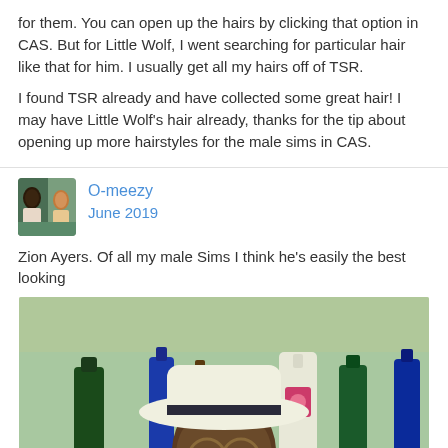for them. You can open up the hairs by clicking that option in CAS. But for Little Wolf, I went searching for particular hair like that for him. I usually get all my hairs off of TSR.

I found TSR already and have collected some great hair! I may have Little Wolf's hair already, thanks for the tip about opening up more hairstyles for the male sims in CAS.
O-meezy
June 2019
Zion Ayers. Of all my male Sims I think he's easily the best looking
[Figure (photo): Screenshot of a Sims character: a male sim wearing a white fedora hat with dark band, glasses, and an earring, standing in front of a bar with colorful liquor bottles (green, blue, brown, white, and pink bottles) in the background.]